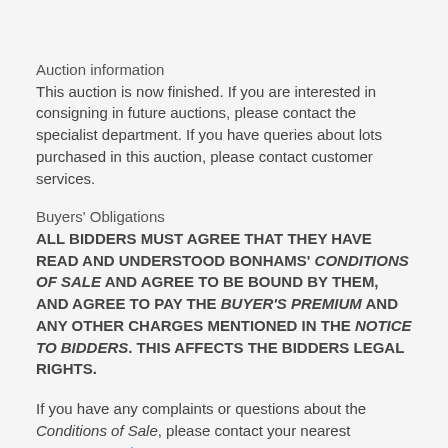Auction information
This auction is now finished. If you are interested in consigning in future auctions, please contact the specialist department. If you have queries about lots purchased in this auction, please contact customer services.
Buyers' Obligations
ALL BIDDERS MUST AGREE THAT THEY HAVE READ AND UNDERSTOOD BONHAMS' CONDITIONS OF SALE AND AGREE TO BE BOUND BY THEM, AND AGREE TO PAY THE BUYER'S PREMIUM AND ANY OTHER CHARGES MENTIONED IN THE NOTICE TO BIDDERS. THIS AFFECTS THE BIDDERS LEGAL RIGHTS.
If you have any complaints or questions about the Conditions of Sale, please contact your nearest customer services team.